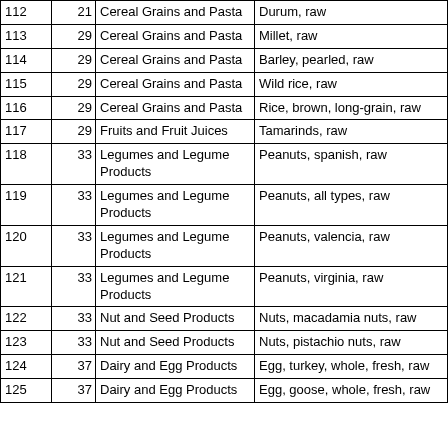| 112 | 21 | Cereal Grains and Pasta | Durum, raw |
| 113 | 29 | Cereal Grains and Pasta | Millet, raw |
| 114 | 29 | Cereal Grains and Pasta | Barley, pearled, raw |
| 115 | 29 | Cereal Grains and Pasta | Wild rice, raw |
| 116 | 29 | Cereal Grains and Pasta | Rice, brown, long-grain, raw |
| 117 | 29 | Fruits and Fruit Juices | Tamarinds, raw |
| 118 | 33 | Legumes and Legume Products | Peanuts, spanish, raw |
| 119 | 33 | Legumes and Legume Products | Peanuts, all types, raw |
| 120 | 33 | Legumes and Legume Products | Peanuts, valencia, raw |
| 121 | 33 | Legumes and Legume Products | Peanuts, virginia, raw |
| 122 | 33 | Nut and Seed Products | Nuts, macadamia nuts, raw |
| 123 | 33 | Nut and Seed Products | Nuts, pistachio nuts, raw |
| 124 | 37 | Dairy and Egg Products | Egg, turkey, whole, fresh, raw |
| 125 | 37 | Dairy and Egg Products | Egg, goose, whole, fresh, raw |